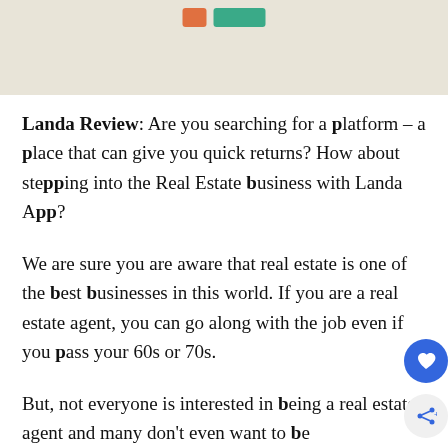[Figure (map): Partial map image with orange and green legend indicators at the top center]
Landa Review: Are you searching for a platform – a place that can give you quick returns? How about stepping into the Real Estate business with Landa App?
We are sure you are aware that real estate is one of the best businesses in this world. If you are a real estate agent, you can go along with the job even if you pass your 60s or 70s.
But, not everyone is interested in being a real estate agent and many don't even want to be